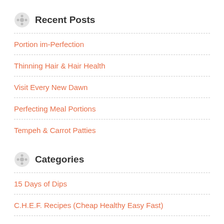Recent Posts
Portion im-Perfection
Thinning Hair & Hair Health
Visit Every New Dawn
Perfecting Meal Portions
Tempeh & Carrot Patties
Categories
15 Days of Dips
C.H.E.F. Recipes (Cheap Healthy Easy Fast)
Eat to live! Don't Live to Eat